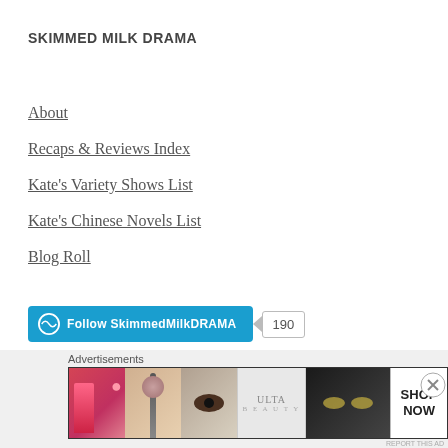SKIMMED MILK DRAMA
About
Recaps & Reviews Index
Kate's Variety Shows List
Kate's Chinese Novels List
Blog Roll
[Figure (other): WordPress Follow button for SkimmedMilkDRAMA with follower count badge showing 190]
AUTHOR'S NOTE
KATE
Advertisements
[Figure (photo): Ulta Beauty advertisement banner showing cosmetics imagery (lips, makeup brush, eye, Ulta logo, eyes, SHOP NOW)]